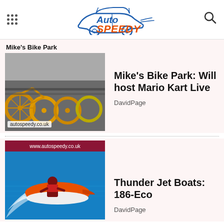Auto Speedy
Mike's Bike Park
[Figure (photo): Rows of yellow bicycles parked in a rack, close-up of wheels and frames]
autospeedy.co.uk
Mike's Bike Park: Will host Mario Kart Live
DavidPage
[Figure (photo): Person riding an orange jet ski on blue water, with a red banner showing www.autospeedy.co.uk]
www.autospeedy.co.uk
Thunder Jet Boats: 186-Eco
DavidPage